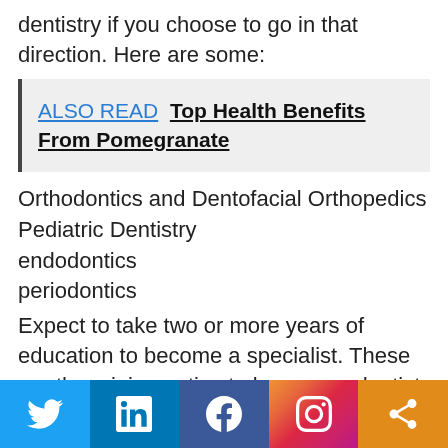dentistry if you choose to go in that direction. Here are some:
ALSO READ  Top Health Benefits From Pomegranate
Orthodontics and Dentofacial Orthopedics
Pediatric Dentistry
endodontics
periodontics
Expect to take two or more years of education to become a specialist. These are the minimum tips to become a dentist.
[Figure (infographic): Social media share bar with Twitter, LinkedIn, Facebook, Instagram, and share icons]